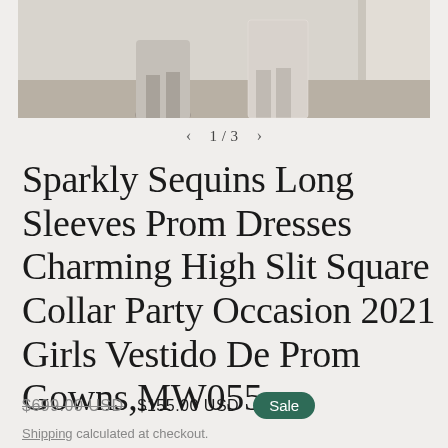[Figure (photo): Product photo showing lower portion of two people wearing long dresses, standing on a hardwood floor near a doorway with cream-colored paneling]
< 1 / 3 >
Sparkly Sequins Long Sleeves Prom Dresses Charming High Slit Square Collar Party Occasion 2021 Girls Vestido De Prom Gowns,MW055
$699.00 USD  $155.00 USD  Sale
Shipping calculated at checkout.